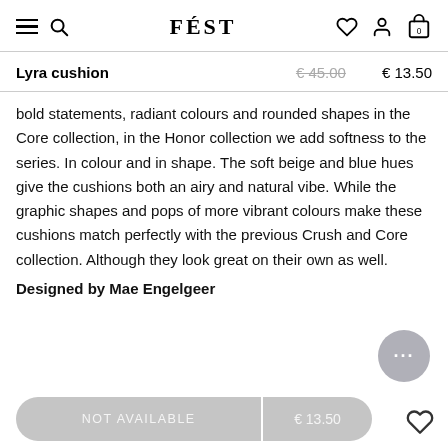FÉST
Lyra cushion  € 45.00  € 13.50
bold statements, radiant colours and rounded shapes in the Core collection, in the Honor collection we add softness to the series. In colour and in shape. The soft beige and blue hues give the cushions both an airy and natural vibe. While the graphic shapes and pops of more vibrant colours make these cushions match perfectly with the previous Crush and Core collection. Although they look great on their own as well.
Designed by Mae Engelgeer
NOT AVAILABLE  € 13.50